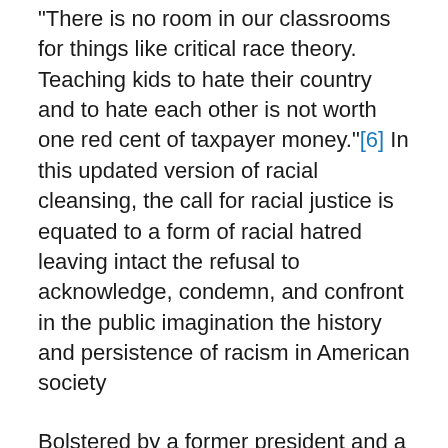"There is no room in our classrooms for things like critical race theory. Teaching kids to hate their country and to hate each other is not worth one red cent of taxpayer money."[6] In this updated version of racial cleansing, the call for racial justice is equated to a form of racial hatred leaving intact the refusal to acknowledge, condemn, and confront in the public imagination the history and persistence of racism in American society
Bolstered by a former president and a slew of Vichy-type politicians, right-wing ideologues, intellectuals, and media pundits deny and erase events from a fascist past that shed light on emerging right-wing, neo-Nazi, and extremist policies, ideas, and symbols. As Coco Das points out given that 73 million people voted to re-elect Trump, it is clear that Americans “have a Nazi problem.”[7] This was also evident in the words and actions of former president